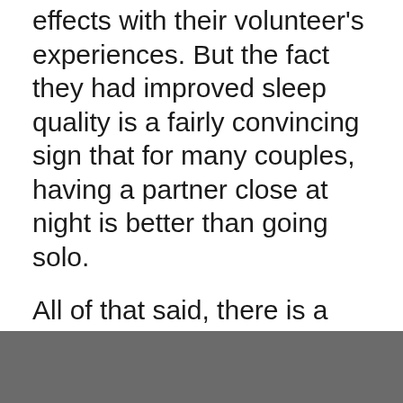effects with their volunteer's experiences. But the fact they had improved sleep quality is a fairly convincing sign that for many couples, having a partner close at night is better than going solo.
All of that said, there is a sizeable list of caveats to note before purchasing that queen size ensemble.
There were just 24 individuals involved in the study, all young and healthy with no sleep apnea or other sleep disturbing concerns. They also happened to co-sleep already, ruling out individuals who prefer keeping to their own bed, or those just not used to sleeping with others.
Studying sleep patterns in a specially designed